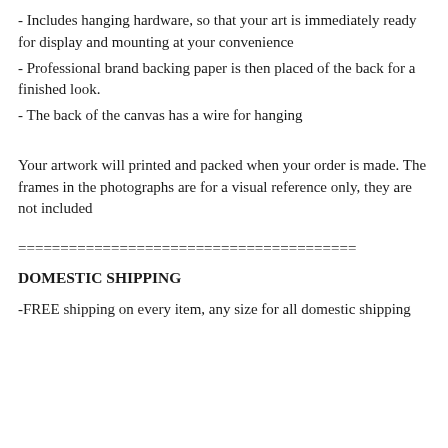- Includes hanging hardware, so that your art is immediately ready for display and mounting at your convenience
- Professional brand backing paper is then placed of the back for a finished look.
- The back of the canvas has a wire for hanging
Your artwork will printed and packed when your order is made. The frames in the photographs are for a visual reference only, they are not included
========================================
DOMESTIC SHIPPING
-FREE shipping on every item, any size for all domestic shipping